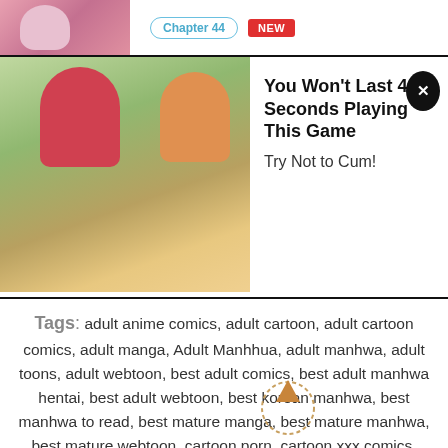[Figure (screenshot): Ad banner with manga thumbnail, Chapter 44 badge, NEW badge, promotional game ad image, title text and close button]
Tags: adult anime comics, adult cartoon, adult cartoon comics, adult manga, Adult Manhhua, adult manhwa, adult toons, adult webtoon, best adult comics, best adult manhwa hentai, best adult webtoon, best korean manhwa, best manhwa to read, best mature manga, best mature manhwa, best mature webtoon, cartoon porn, cartoon xxx comics, cartoons hentai, comic porn, comics free adult, comix adult, DC comic, dirty cartoons, dirty comics, free adult cartoon comics, free adult toons, free comic online, free dc comic, free full lezhin, free full toomics, free full toptoon, free hentai, free milftoon comics, free webtoon